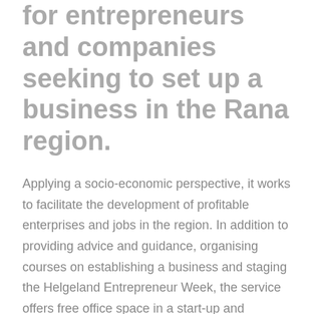for entrepreneurs and companies seeking to set up a business in the Rana region.
Applying a socio-economic perspective, it works to facilitate the development of profitable enterprises and jobs in the region. In addition to providing advice and guidance, organising courses on establishing a business and staging the Helgeland Entrepreneur Week, the service offers free office space in a start-up and development phase. Its support is free of charge and open to all sectors and industries with both local and international markets. Its support is free of charge and open to